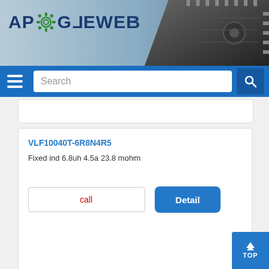[Figure (logo): ApoGeeWeb logo with gear icon and microchip background in header banner]
Search navigation bar with hamburger menu and search field
VLF10040T-6R8N4R5
Fixed ind 6.8uh 4.5a 23.8 mohm
call
Detail
LQP15MN3N6B02D